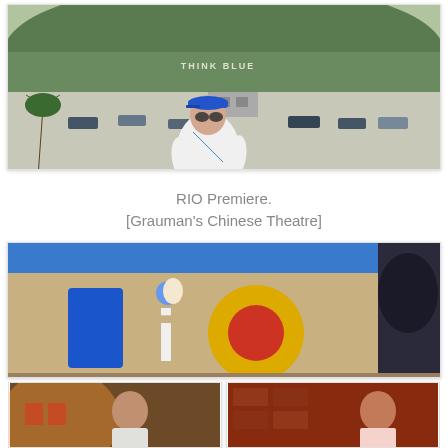[Figure (photo): Person wearing a blue LA Dodgers cap and sunglasses, white t-shirt with a colorful crossbody bag, standing in a large parking lot with hills and 'THINK BLUE' sign in background]
RIO Premiere.
[Grauman's Chinese Theatre]
[Figure (photo): Close-up of the RIO movie logo sign on sand with colorful letters]
[Figure (photo): Two smaller photos side by side: left shows a person at what appears to be a theatrical interior, right shows a person near decorative stone or themed environment]